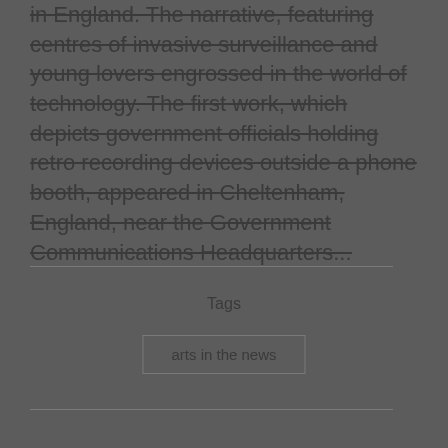in England. The narrative, featuring centres of invasive surveillance and young lovers engrossed in the world of technology. The first work, which depicts government officials holding retro recording devices outside a phone booth, appeared in Cheltenham, England, near the Government Communications Headquarters...
Tags
arts in the news